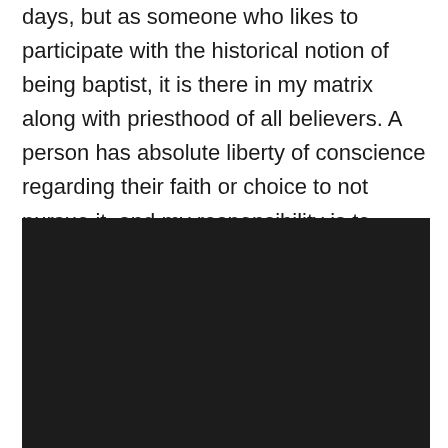days, but as someone who likes to participate with the historical notion of being baptist, it is there in my matrix along with priesthood of all believers. A person has absolute liberty of conscience regarding their faith or choice to not pursue it, and my responsibility is to protect that liberty for all.
[Figure (photo): A large dark/black rectangular image, appearing to be a video thumbnail or embedded media block with very dark content.]